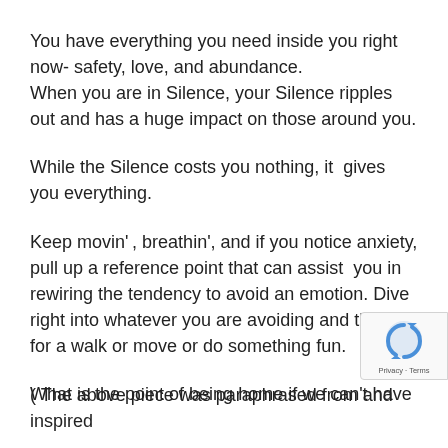You have everything you need inside you right now- safety, love, and abundance.
When you are in Silence, your Silence ripples out and has a huge impact on those around you.
While the Silence costs you nothing, it  gives you everything.
Keep movin' , breathin', and if you notice anxiety, pull up a reference point that can assist  you in rewiring the tendency to avoid an emotion. Dive right into whatever you are avoiding and then go for a walk or move or do something fun.
What is the point of being home if we can't have
( The above piece was paraphrased from and inspired